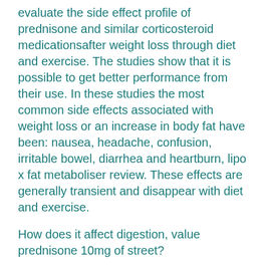evaluate the side effect profile of prednisone and similar corticosteroid medicationsafter weight loss through diet and exercise. The studies show that it is possible to get better performance from their use. In these studies the most common side effects associated with weight loss or an increase in body fat have been: nausea, headache, confusion, irritable bowel, diarrhea and heartburn, lipo x fat metaboliser review. These effects are generally transient and disappear with diet and exercise.
How does it affect digestion, value prednisone 10mg of street?
Does this affect the GI tract?
Preliminary preliminary studies support that it is possible some of the effects may be due to the effects of the steroids...